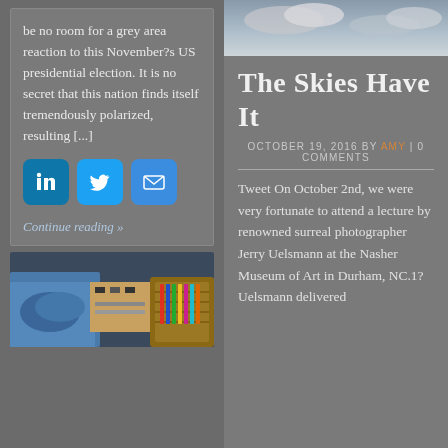be no room for a grey area reaction to this November?s US presidential election. It is no secret that this nation finds itself tremendously polarized, resulting [...]
[Figure (infographic): Social media share icons: LinkedIn, Twitter, Email]
Continue reading »
[Figure (photo): Photo of blue-gloved hands working on electronics with colorful components and a woven basket visible]
[Figure (photo): Sky/clouds photo at top of right column article]
The Skies Have It
OCTOBER 19, 2016 BY AMY | 0 COMMENTS
Tweet On October 2nd, we were very fortunate to attend a lecture by renowned surreal photographer Jerry Uelsmann at the Nasher Museum of Art in Durham, NC.1? Uelsmann delivered